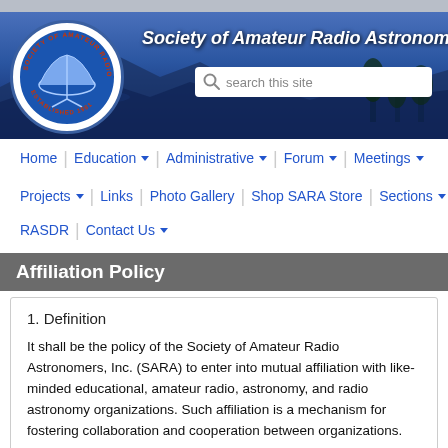[Figure (screenshot): Society of Amateur Radio Astronomers website header banner with logo, title, and search box]
Society of Amateur Radio Astronomers
Home
Education ▼
Administrative ▼
Forum ▼
Meetings ▼
Projects ▼
Links
Photo Gallery
Shop SARA Store
Sections ▼
RASDR
Contact Us ▼
Affiliation Policy
1. Definition
It shall be the policy of the Society of Amateur Radio Astronomers, Inc. (SARA) to enter into mutual affiliation with like-minded educational, amateur radio, astronomy, and radio astronomy organizations. Such affiliation is a mechanism for fostering collaboration and cooperation between organizations.